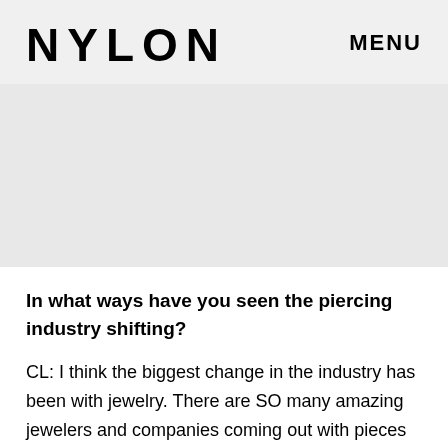NYLON   MENU
[Figure (other): Grey placeholder image area]
In what ways have you seen the piercing industry shifting?
CL: I think the biggest change in the industry has been with jewelry. There are SO many amazing jewelers and companies coming out with pieces that